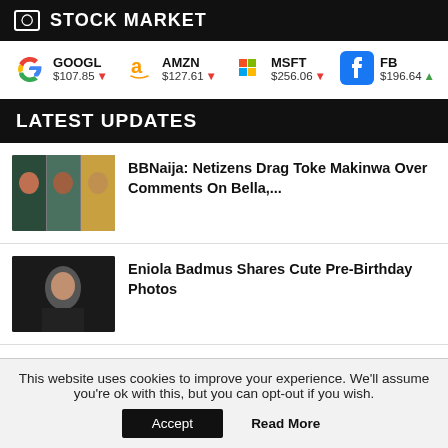STOCK MARKET
GOOGL $107.85 ↓  AMZN $127.61 ↓  MSFT $256.06 ↓  FB $196.64 ↑
LATEST UPDATES
[Figure (photo): Thumbnail showing BBNaija cast members]
BBNaija: Netizens Drag Toke Makinwa Over Comments On Bella,...
[Figure (photo): Thumbnail showing Eniola Badmus posing]
Eniola Badmus Shares Cute Pre-Birthday Photos
This website uses cookies to improve your experience. We'll assume you're ok with this, but you can opt-out if you wish.